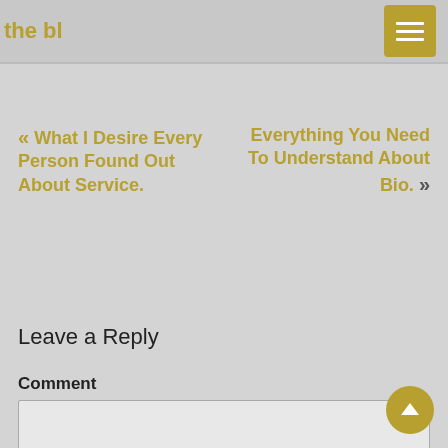the bl
« What I Desire Every Person Found Out About Service.
Everything You Need To Understand About Bio. »
Leave a Reply
Comment